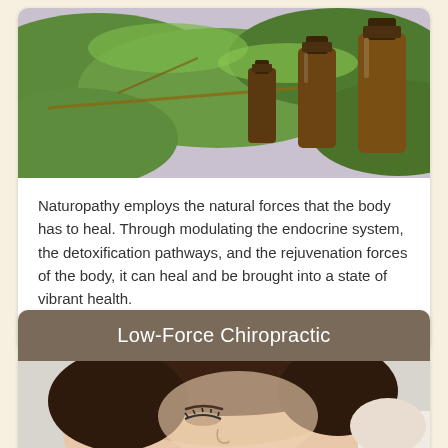[Figure (photo): Essential oil bottles with green eucalyptus leaves in background]
Naturopathy employs the natural forces that the body has to heal. Through modulating the endocrine system, the detoxification pathways, and the rejuvenation forces of the body, it can heal and be brought into a state of vibrant health.
Read more...
Low-Force Chiropractic
[Figure (photo): Woman with eyes closed receiving chiropractic or facial treatment]